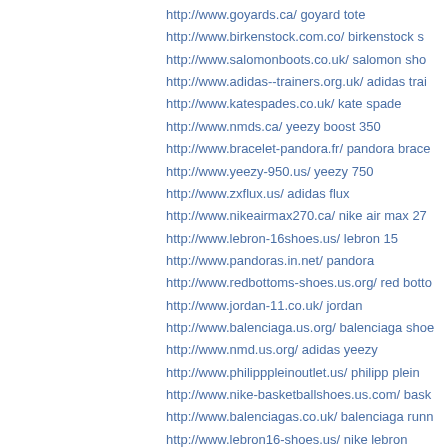http://www.goyards.ca/ goyard tote
http://www.birkenstock.com.co/ birkenstock s
http://www.salomonboots.co.uk/ salomon sho
http://www.adidas--trainers.org.uk/ adidas trai
http://www.katespades.co.uk/ kate spade
http://www.nmds.ca/ yeezy boost 350
http://www.bracelet-pandora.fr/ pandora brace
http://www.yeezy-950.us/ yeezy 750
http://www.zxflux.us/ adidas flux
http://www.nikeairmax270.ca/ nike air max 27
http://www.lebron-16shoes.us/ lebron 15
http://www.pandoras.in.net/ pandora
http://www.redbottoms-shoes.us.org/ red botto
http://www.jordan-11.co.uk/ jordan
http://www.balenciaga.us.org/ balenciaga shoe
http://www.nmd.us.org/ adidas yeezy
http://www.philipppleinoutlet.us/ philipp plein
http://www.nike-basketballshoes.us.com/ bask
http://www.balenciagas.co.uk/ balenciaga runn
http://www.lebron16-shoes.us/ nike lebron
http://www.salomon.us.org/ salomon
http://www.pandorajewelrycharms.org.uk/ par
http://www.adidas-trainers.org.uk/